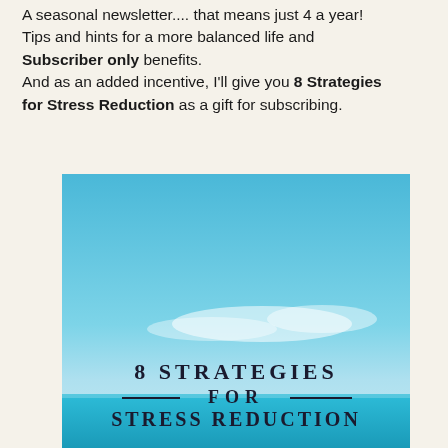A seasonal newsletter.... that means just 4 a year! Tips and hints for a more balanced life and Subscriber only benefits. And as an added incentive, I'll give you 8 Strategies for Stress Reduction as a gift for subscribing.
[Figure (illustration): Book cover image with sky and ocean background showing text '8 STRATEGIES FOR STRESS REDUCTION' with decorative horizontal lines flanking the word FOR]